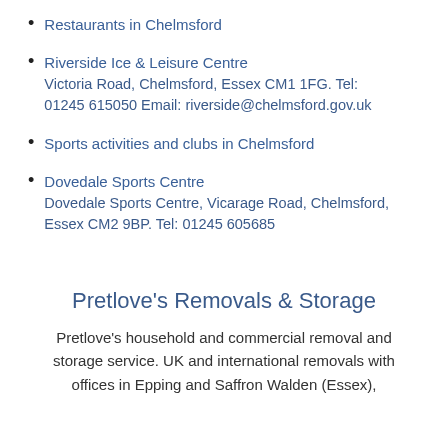Restaurants in Chelmsford
Riverside Ice & Leisure Centre
Victoria Road, Chelmsford, Essex CM1 1FG. Tel: 01245 615050 Email: riverside@chelmsford.gov.uk
Sports activities and clubs in Chelmsford
Dovedale Sports Centre
Dovedale Sports Centre, Vicarage Road, Chelmsford, Essex CM2 9BP. Tel: 01245 605685
Pretlove's Removals & Storage
Pretlove's household and commercial removal and storage service. UK and international removals with offices in Epping and Saffron Walden (Essex),